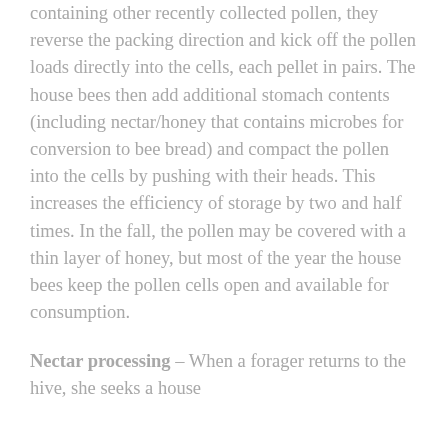containing other recently collected pollen, they reverse the packing direction and kick off the pollen loads directly into the cells, each pellet in pairs. The house bees then add additional stomach contents (including nectar/honey that contains microbes for conversion to bee bread) and compact the pollen into the cells by pushing with their heads. This increases the efficiency of storage by two and half times. In the fall, the pollen may be covered with a thin layer of honey, but most of the year the house bees keep the pollen cells open and available for consumption.
Nectar processing – When a forager returns to the hive, she seeks a house